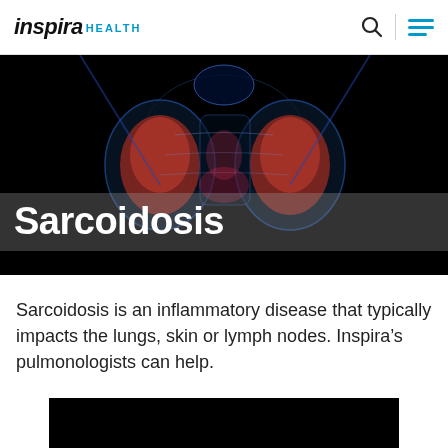Inspira HEALTH
[Figure (photo): Dark medical illustration of human torso showing lungs with glowing blue and red anatomical detail on black background, with the title 'Sarcoidosis' overlaid at the bottom]
Sarcoidosis
Sarcoidosis is an inflammatory disease that typically impacts the lungs, skin or lymph nodes. Inspira’s pulmonologists can help.
[Figure (photo): Partial black image at bottom of page, likely a video thumbnail or additional medical image]